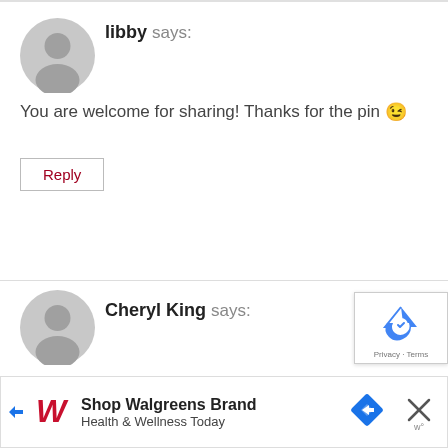[Figure (illustration): Gray circular user avatar icon for commenter libby]
libby says:
You are welcome for sharing! Thanks for the pin 😉
Reply
[Figure (illustration): Gray circular user avatar icon for commenter Cheryl King]
[Figure (logo): reCAPTCHA badge with Privacy and Terms text]
Cheryl King says:
I found this lovely recipe on the In and Out of
[Figure (screenshot): Walgreens advertisement bar: Shop Walgreens Brand Health & Wellness Today]